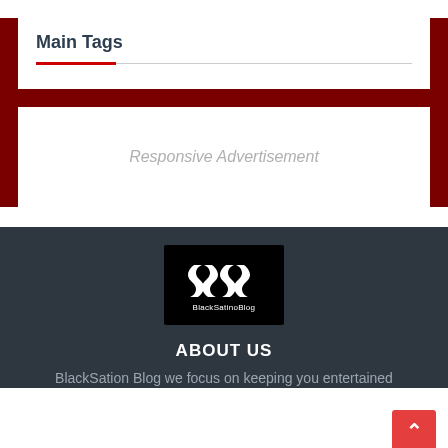Main Tags
Responsive Advertisement
[Figure (logo): BlackSatinoBlog logo — black rectangle with stylized double-S ribbon mark in white and the text 'BlackSatinoBlog' below it]
ABOUT US
BlackSation Blog we focus on keeping you entertained